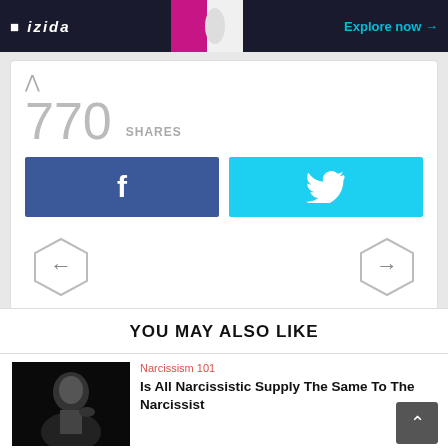[Figure (screenshot): Top navigation banner with logo on left, person image in center, and 'Explore now →' link in cyan on dark background]
770
SHARES
[Figure (infographic): Facebook share button (blue with 'f' icon) and Twitter share button (cyan with bird icon)]
[Figure (infographic): Navigation hexagon arrows: left arrow on left, right arrow on right]
YOU MAY ALSO LIKE
[Figure (photo): Black and white photo of a man in a suit with hand near face]
Narcissism 101
Is All Narcissistic Supply The Same To The Narcissist
[Figure (photo): Photo of an angry-looking man with fist raised]
Narcissism 101 • Narcissistic Abuse
What Narcissists Do When They Are Ready To Discard You